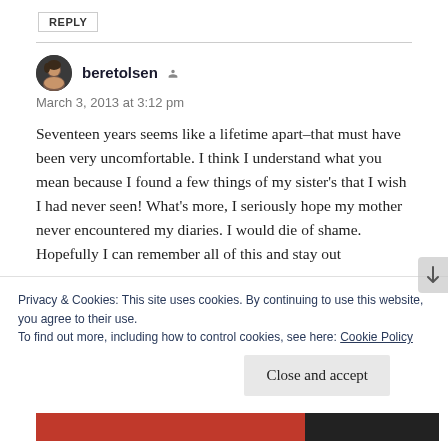REPLY
beretolsen
March 3, 2013 at 3:12 pm
Seventeen years seems like a lifetime apart–that must have been very uncomfortable. I think I understand what you mean because I found a few things of my sister's that I wish I had never seen! What's more, I seriously hope my mother never encountered my diaries. I would die of shame. Hopefully I can remember all of this and stay out
Privacy & Cookies: This site uses cookies. By continuing to use this website, you agree to their use.
To find out more, including how to control cookies, see here: Cookie Policy
Close and accept